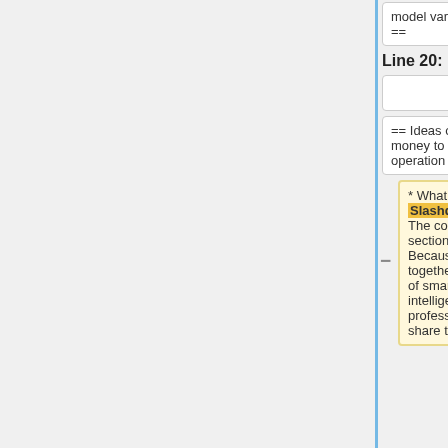model variants ==
model variants ==
Line 20:
Line 28:
== Ideas on how to make money to finance the operation ==
== Ideas on how to make money to finance the operation ==
* What makes Slashdot so good? The comments section! Why? Because it brings together a large group of smart and intelligent IT professionals who share their collective
* What makes Slash so good? The comments section! Why? Because it brings together a large group of smart and intelligent IT professionals who share their collective knowledge.